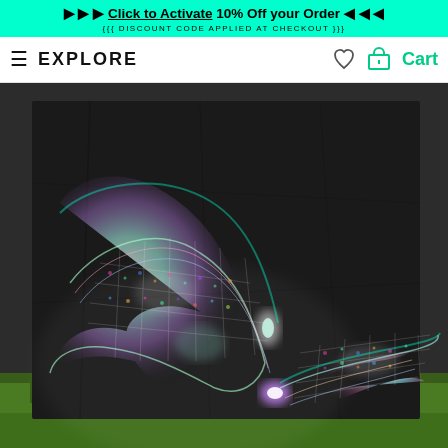▶▶▶ Click to Activate 10% Off your Order ◀◀◀ {{{ DISCOUNT CODE APPLIED AT CHECKOUT }}}
≡  EXPLORE
♡  🛒  Cart
[Figure (photo): A black fabric tapestry laid flat on green grass, displaying a psychedelic glowing pattern of two hands or skeletal hand shapes with iridescent, holographic fractal designs in white, cyan, pink and purple tones.]